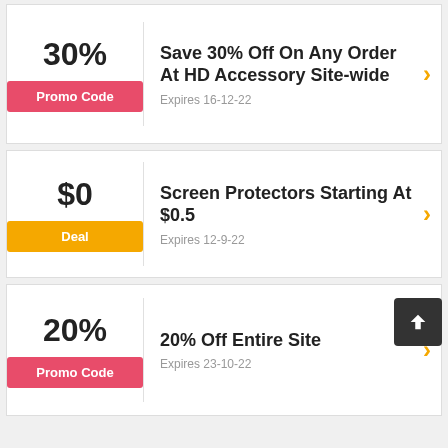30%
Promo Code
Save 30% Off On Any Order At HD Accessory Site-wide
Expires 16-12-22
$0
Deal
Screen Protectors Starting At $0.5
Expires 12-9-22
20%
Promo Code
20% Off Entire Site
Expires 23-10-22